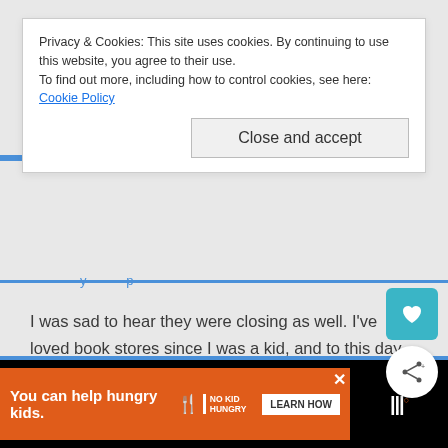Privacy & Cookies: This site uses cookies. By continuing to use this website, you agree to their use.
To find out more, including how to control cookies, see here: Cookie Policy
Close and accept
I was sad to hear they were closing as well. I've loved book stores since I was a kid, and to this day as an adult, when I walk into a book store, I immediately have to use the rest room as I'm so excited to be there LOL. As much as I love my Kindle, my husband and I still go to our local book store about once a month. I hope eBooks don't ruin our local book store as well.
You can help hungry kids. NO KID HUNGRY LEARN HOW